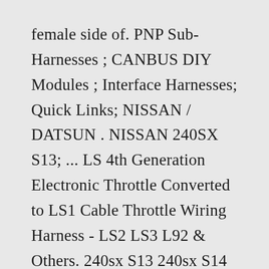female side of. PNP Sub-Harnesses ; CANBUS DIY Modules ; Interface Harnesses; Quick Links; NISSAN / DATSUN . NISSAN 240SX S13; ... LS 4th Generation Electronic Throttle Converted to LS1 Cable Throttle Wiring Harness - LS2 LS3 L92 & Others. 240sx S13 240sx S14 180sx / Silvia S13 (RHD JDM). LS DIY STANDALONE FUSEBOX AND RELAY KIT; LT Gen V. Harnesses and PCM's;